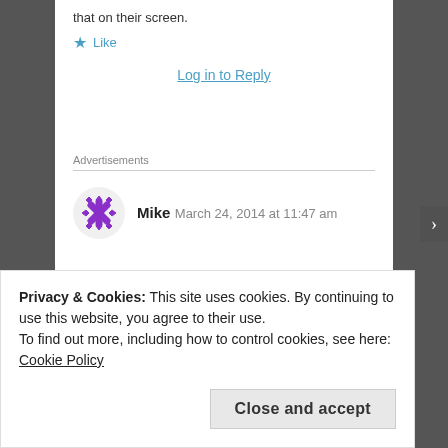that on their screen.
★ Like
Log in to Reply
Advertisements
Mike   March 24, 2014 at 11:47 am
Privacy & Cookies: This site uses cookies. By continuing to use this website, you agree to their use.
To find out more, including how to control cookies, see here: Cookie Policy
Close and accept